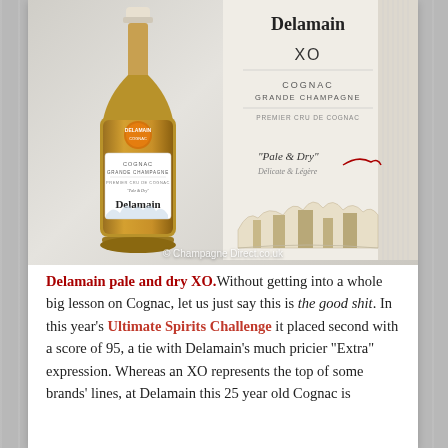[Figure (photo): Product photo showing a bottle of Delamain XO Cognac Grande Champagne 'Pale & Dry' on the left, and the product box/packaging on the right. A watermark reads '© ChampagneDirect.co.uk'. The background is a grey wooden texture.]
Delamain pale and dry XO. Without getting into a whole big lesson on Cognac, let us just say this is the good shit. In this year's Ultimate Spirits Challenge it placed second with a score of 95, a tie with Delamain's much pricier "Extra" expression. Whereas an XO represents the top of some brands' lines, at Delamain this 25 year old Cognac is